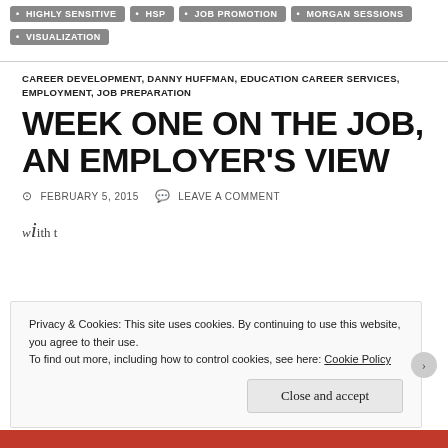HIGHLY SENSITIVE
HSP
JOB PROMOTION
MORGAN SESSIONS
VISUALIZATION
CAREER DEVELOPMENT, DANNY HUFFMAN, EDUCATION CAREER SERVICES, EMPLOYMENT, JOB PREPARATION
WEEK ONE ON THE JOB, AN EMPLOYER'S VIEW
FEBRUARY 5, 2015   LEAVE A COMMENT
Privacy & Cookies: This site uses cookies. By continuing to use this website, you agree to their use.
To find out more, including how to control cookies, see here: Cookie Policy
Close and accept